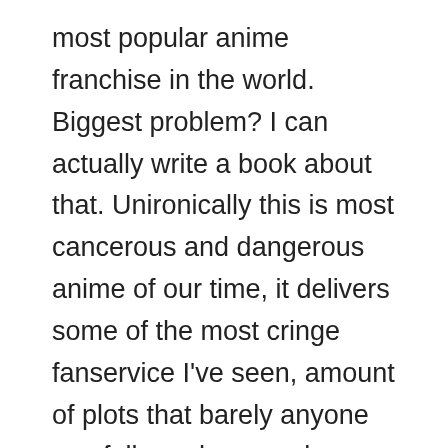most popular anime franchise in the world. Biggest problem? I can actually write a book about that. Unironically this is most cancerous and dangerous anime of our time, it delivers some of the most cringe fanservice I've seen, amount of plots that barely anyone can follow, chaos and pacing changes whenever creations feel like it and complete disaster in storytelling. This is only the beginning. I've never dropped single piece of anime and I'm proud of my no drop policy and I never doubted it even with previous installments of this franchise. This is the only production since 2003 I actually considered to drop, seriously. Watching this show truly hurted my intelligence and changed what I used to think about anime. This is